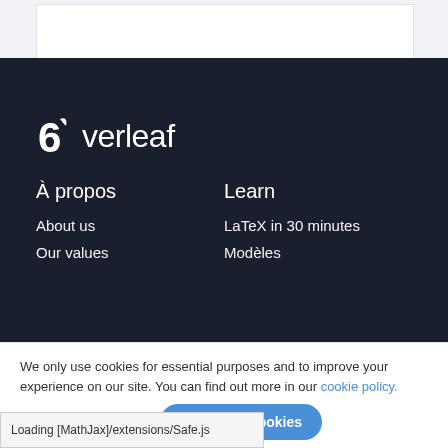[Figure (logo): Overleaf logo with leaf icon and white text on dark background]
À propos
Learn
About us
LaTeX in 30 minutes
Our values
Modèles
We only use cookies for essential purposes and to improve your experience on our site. You can find out more in our cookie policy.
Essential cookies only
Accept all cookies
Loading [MathJax]/extensions/Safe.js